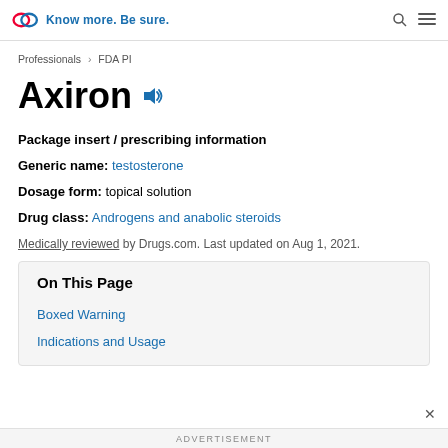Know more. Be sure.
Professionals > FDA PI
Axiron
Package insert / prescribing information
Generic name: testosterone
Dosage form: topical solution
Drug class: Androgens and anabolic steroids
Medically reviewed by Drugs.com. Last updated on Aug 1, 2021.
On This Page
Boxed Warning
Indications and Usage
ADVERTISEMENT